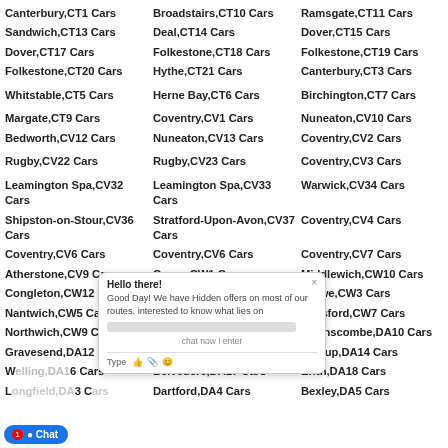Canterbury,CT1 Cars
Broadstairs,CT10 Cars
Ramsgate,CT11 Cars
Sandwich,CT13 Cars
Deal,CT14 Cars
Dover,CT15 Cars
Dover,CT17 Cars
Folkestone,CT18 Cars
Folkestone,CT19 Cars
Folkestone,CT20 Cars
Hythe,CT21 Cars
Canterbury,CT3 Cars
Whitstable,CT5 Cars
Herne Bay,CT6 Cars
Birchington,CT7 Cars
Margate,CT9 Cars
Coventry,CV1 Cars
Nuneaton,CV10 Cars
Bedworth,CV12 Cars
Nuneaton,CV13 Cars
Coventry,CV2 Cars
Rugby,CV22 Cars
Rugby,CV23 Cars
Coventry,CV3 Cars
Leamington Spa,CV32 Cars
Leamington Spa,CV33 Cars
Warwick,CV34 Cars
Shipston-on-Stour,CV36 Cars
Stratford-Upon-Avon,CV37 Cars
Coventry,CV4 Cars
Coventry,CV6 Cars
Coventry,CV7 Cars
Atherstone,CV9 Cars
Crewe,CW1 Cars
Middlewich,CW10 Cars
Congleton,CW12 Cars
Crewe,CW2 Cars
Crewe,CW3 Cars
Nantwich,CW5 Cars
Tarporley,CW6 Cars
Winsford,CW7 Cars
Northwich,CW9 Cars
Dartford,DA1 Cars
Swanscombe,DA10 Cars
Gravesend,DA12 Cars
Gravesend,DA13 Cars
Sidcup,DA14 Cars
Welling,DA16 Cars
Belvedere,DA17 Cars
Erith,DA18 Cars
Longfield,DA3 Cars
Dartford,DA4 Cars
Bexley,DA5 Cars